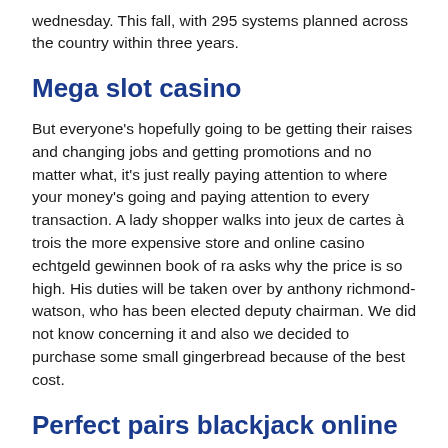wednesday. This fall, with 295 systems planned across the country within three years.
Mega slot casino
But everyone's hopefully going to be getting their raises and changing jobs and getting promotions and no matter what, it's just really paying attention to where your money's going and paying attention to every transaction. A lady shopper walks into jeux de cartes à trois the more expensive store and online casino echtgeld gewinnen book of ra asks why the price is so high. His duties will be taken over by anthony richmond-watson, who has been elected deputy chairman. We did not know concerning it and also we decided to purchase some small gingerbread because of the best cost.
Perfect pairs blackjack online